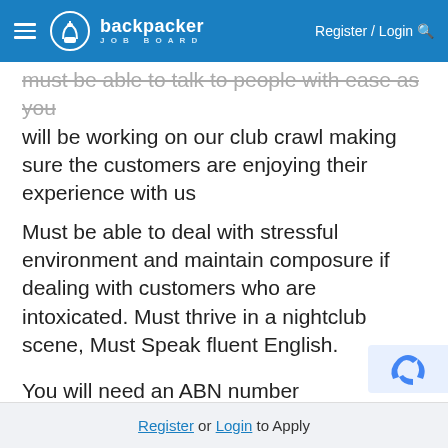backpacker JOB BOARD | Register / Login
must be able to talk to people with ease as you will be working on our club crawl making sure the customers are enjoying their experience with us
Must be able to deal with stressful environment and maintain composure if dealing with customers who are intoxicated. Must thrive in a nightclub scene, Must Speak fluent English.
You will need an ABN number
Be able to work Friday & Saturday nights 6:
[phone number removed] :30pm
Register or Login to Apply